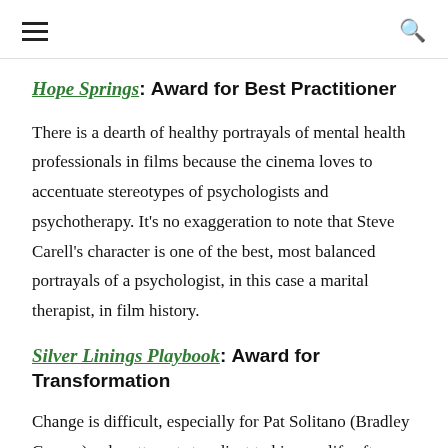≡  🔍
Hope Springs: Award for Best Practitioner
There is a dearth of healthy portrayals of mental health professionals in films because the cinema loves to accentuate stereotypes of psychologists and psychotherapy. It's no exaggeration to note that Steve Carell's character is one of the best, most balanced portrayals of a psychologist, in this case a marital therapist, in film history.
Silver Linings Playbook: Award for Transformation
Change is difficult, especially for Pat Solitano (Bradley Cooper), who attempts to adjust to his new life after